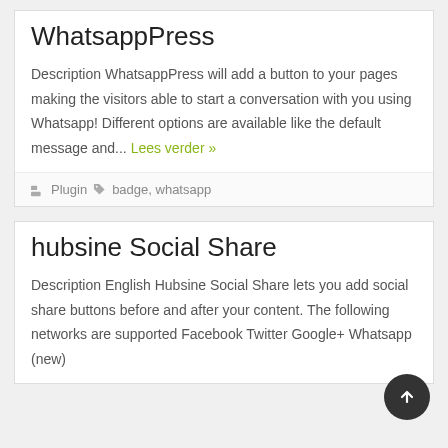WhatsappPress
Description WhatsappPress will add a button to your pages making the visitors able to start a conversation with you using Whatsapp! Different options are available like the default message and... Lees verder »
Plugin   badge, whatsapp
hubsine Social Share
Description English Hubsine Social Share lets you add social share buttons before and after your content. The following networks are supported: Facebook Twitter Google+ Whatsapp (new)